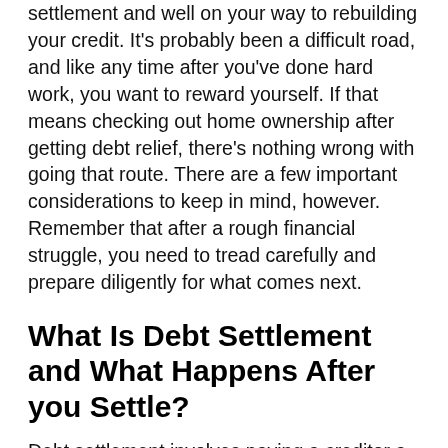settlement and well on your way to rebuilding your credit.  It's probably been a difficult road, and like any time after you've done hard work, you want to reward yourself.  If that means checking out home ownership after getting debt relief, there's nothing wrong with going that route.  There are a few important considerations to keep in mind, however.  Remember that after a rough financial struggle, you need to tread carefully and prepare diligently for what comes next.
What Is Debt Settlement and What Happens After you Settle?
Debt settlement involves paying a creditor a lump sum amounting to less than the full debt.  The payment is in exchange for the creditor considering the entire debt retired and done.  By the time both creditor and debtor are in the frame of mind to consider debt settlement they're probably at wits